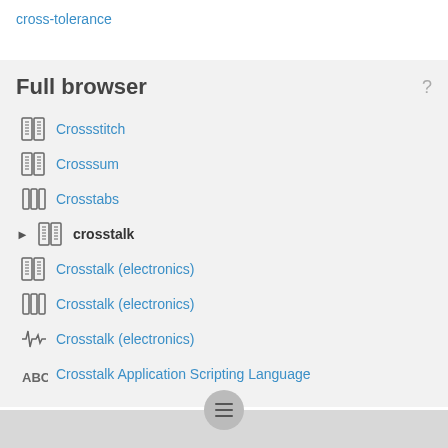cross-tolerance
Full browser
Crossstitch
Crosssum
Crosstabs
crosstalk
Crosstalk (electronics)
Crosstalk (electronics)
Crosstalk (electronics)
Crosstalk Application Scripting Language